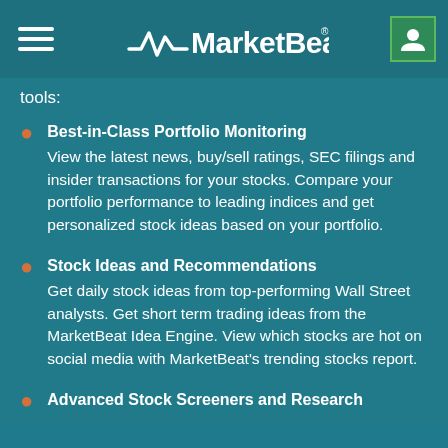MarketBeat
tools:
Best-in-Class Portfolio Monitoring
View the latest news, buy/sell ratings, SEC filings and insider transactions for your stocks. Compare your portfolio performance to leading indices and get personalized stock ideas based on your portfolio.
Stock Ideas and Recommendations
Get daily stock ideas from top-performing Wall Street analysts. Get short term trading ideas from the MarketBeat Idea Engine. View which stocks are hot on social media with MarketBeat's trending stocks report.
Advanced Stock Screeners and Research